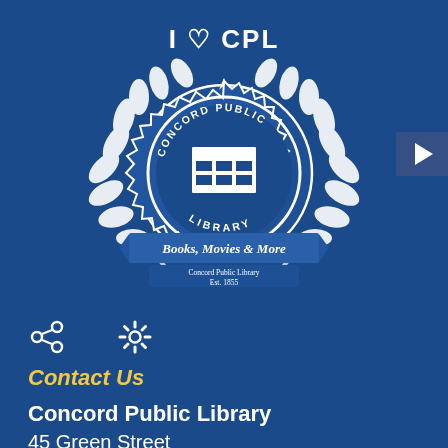[Figure (logo): Concord Public Library logo: circular badge with laurel wreaths, library building illustration, text reading 'CONCORD PUBLIC LIBRARY', 'Books, Movies & More', 'Concord Public Library Est. 1855', and 'I ♡ CPL' above — all in white on dark blue background]
[Figure (other): Share icon (network/share symbol) and Settings icon (gear/cog symbol) in white on dark blue background]
Contact Us
Concord Public Library
45 Green Street
Concord, NH 03301
View Our Hours